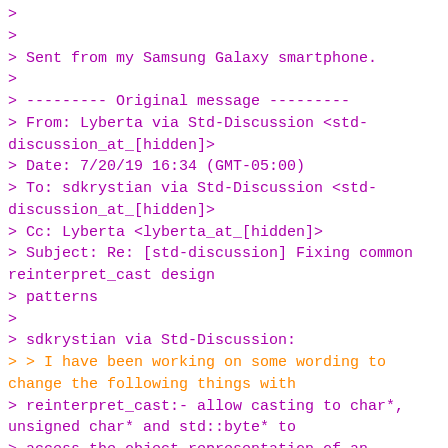>
>
> Sent from my Samsung Galaxy smartphone.
>
> --------- Original message ---------
> From: Lyberta via Std-Discussion <std-discussion_at_[hidden]>
> Date: 7/20/19 16:34 (GMT-05:00)
> To: sdkrystian via Std-Discussion <std-discussion_at_[hidden]>
> Cc: Lyberta <lyberta_at_[hidden]>
> Subject: Re: [std-discussion] Fixing common reinterpret_cast design patterns
>
> sdkrystian via Std-Discussion:
> > I have been working on some wording to change the following things with
> reinterpret_cast:- allow casting to char*, unsigned char* and std::byte* to
> access the object representation of an object, and